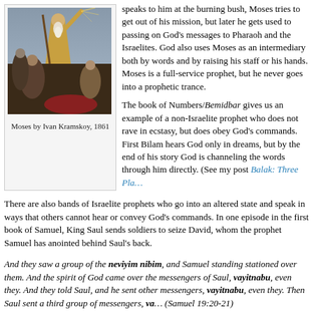[Figure (photo): Moses by Ivan Kramskoy, 1861 — painting showing Moses with raised arm and staff, with followers around him]
Moses by Ivan Kramskoy, 1861
speaks to him at the burning bush, Moses tries to get out of his mission, but later he gets used to passing on God's messages to Pharaoh and the Israelites. God also uses Moses as an intermediary both by words and by raising his staff or his hands. Moses is a full-service prophet, but he never goes into a prophetic trance.
The book of Numbers/Bemidbar gives us an example of a non-Israelite prophet who does not rave in ecstasy, but does obey God's commands. First Bilam hears God only in dreams, but by the end of his story God is channeling the words through him directly. (See my post Balak: Three Pla…
There are also bands of Israelite prophets who go into an altered state and speak in ways that others cannot hear or convey God's commands. In one episode in the first book of Samuel, King Saul sends soldiers to seize David, whom the prophet Samuel has anointed behind Saul's back.
And they saw a group of the neviyim nibim, and Samuel standing stationed over them. And the spirit of God came over the messengers of Saul, vayitnabu, even they. And they told Saul, and he sent other messengers, vayitnabu, even they. Then Saul sent a third group of messengers, va… (Samuel 19:20-21)
nibim (נִבָּאִים) = speaking in ecstasy; raving.